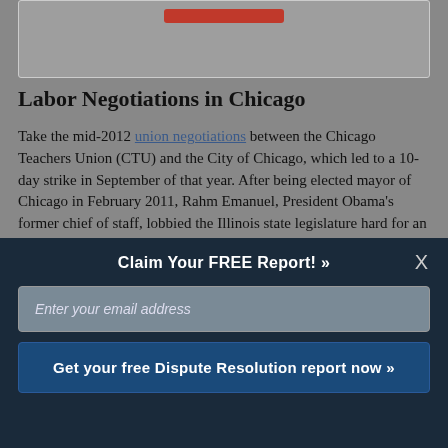[Figure (other): Red call-to-action button inside a grey box at the top of the page]
Labor Negotiations in Chicago
Take the mid-2012 union negotiations between the Chicago Teachers Union (CTU) and the City of Chicago, which led to a 10-day strike in September of that year. After being elected mayor of Chicago in February 2011, Rahm Emanuel, President Obama's former chief of staff, lobbied the Illinois state legislature hard for an education-reform bill targeted at Chicago's troubled school district that included changes to collective
Claim Your FREE Report! »
Enter your email address
Get your free Dispute Resolution report now »